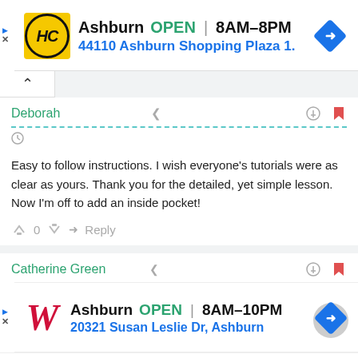[Figure (screenshot): Advertisement banner: HC logo (yellow circle), Ashburn OPEN 8AM-8PM, 44110 Ashburn Shopping Plaza 1., navigation arrow icon]
[Figure (screenshot): Comment section with collapse tab, comment by Deborah with share/link/flag icons, dashed teal line, clock icon, comment text, vote/reply row]
Easy to follow instructions. I wish everyone's tutorials were as clear as yours. Thank you for the detailed, yet simple lesson. Now I'm off to add an inside pocket!
[Figure (screenshot): Second comment header by Catherine Green with share/link/flag icons]
[Figure (screenshot): Advertisement banner: Walgreens W logo (red italic), Ashburn OPEN 8AM-10PM, 20321 Susan Leslie Dr, Ashburn, navigation arrow icon with gray overlay circle]
to see a tutorial on how add an outside pocket so the Lace Zipper will